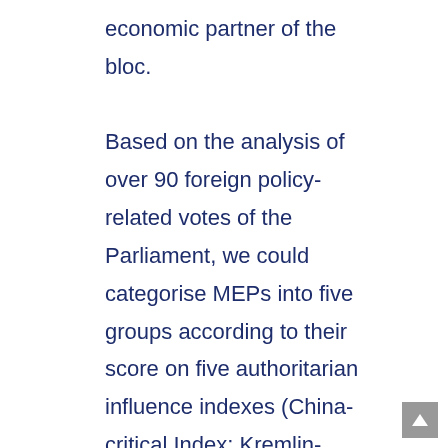economic partner of the bloc. Based on the analysis of over 90 foreign policy-related votes of the Parliament, we could categorise MEPs into five groups according to their score on five authoritarian influence indexes (China-critical Index; Kremlin-critical Index; Counter-disinformation Index; Counter-authoritarian Index; Foreign Policy Integration Index). Most of the